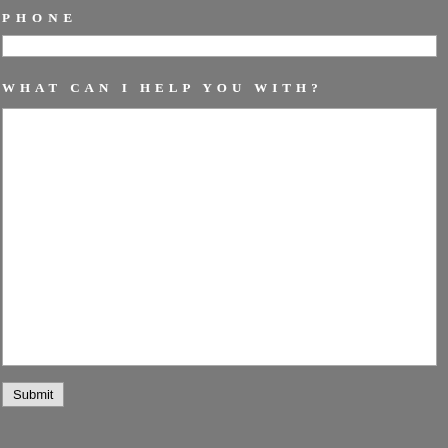PHONE
[Figure (other): Phone input text field (empty white box)]
WHAT CAN I HELP YOU WITH?
[Figure (other): Large textarea for user message input (empty white box)]
Submit